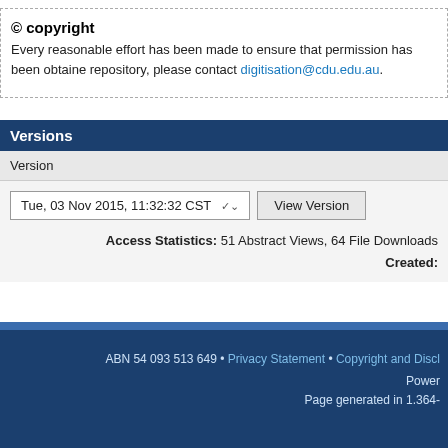© copyright
Every reasonable effort has been made to ensure that permission has been obtained repository, please contact digitisation@cdu.edu.au.
Versions
Version
Tue, 03 Nov 2015, 11:32:32 CST   View Version
Access Statistics: 51 Abstract Views, 64 File Downloads
Created:
ABN 54 093 513 649 • Privacy Statement • Copyright and Discl...
Power...
Page generated in 1.364...